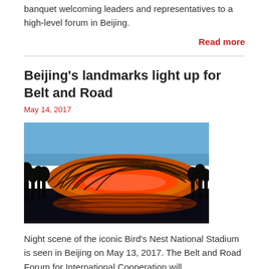banquet welcoming leaders and representatives to a high-level forum in Beijing.
Read more
Beijing's landmarks light up for Belt and Road
May 14, 2017
[Figure (photo): Night scene of the Bird's Nest National Stadium in Beijing, illuminated in orange and red lights, reflected in water below, taken on May 13, 2017.]
Night scene of the iconic Bird's Nest National Stadium is seen in Beijing on May 13, 2017. The Belt and Road Forum for International Cooperation will